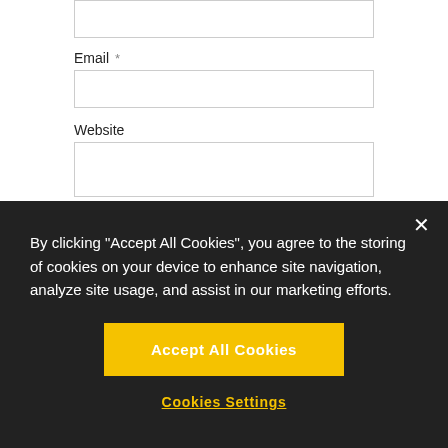Email *
Website
Save my name, email, and website in this
By clicking "Accept All Cookies", you agree to the storing of cookies on your device to enhance site navigation, analyze site usage, and assist in our marketing efforts.
Accept All Cookies
Cookies Settings